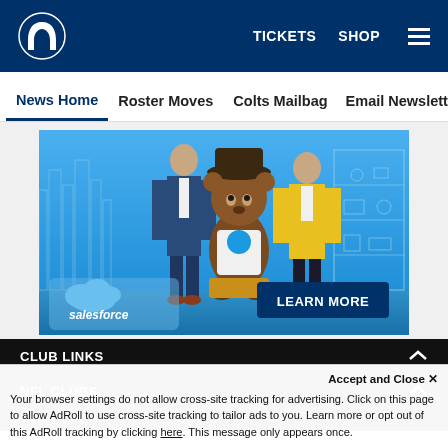Indianapolis Colts – TICKETS  SHOP  [menu]
News Home  Roster Moves  Colts Mailbag  Email Newsletter  U
[Figure (photo): Salesforce advertisement banner showing two people and a mascot character in a blue office background, with 'salesforce' logo and 'LEARN MORE' button.]
CLUB LINKS ∧
NFL CLUBS ∧
MORE NFL SITES
Accept and Close ✕
Your browser settings do not allow cross-site tracking for advertising. Click on this page to allow AdRoll to use cross-site tracking to tailor ads to you. Learn more or opt out of this AdRoll tracking by clicking here. This message only appears once.